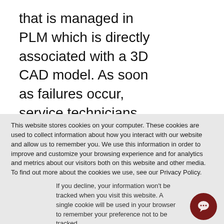that is managed in PLM which is directly associated with a 3D CAD model. As soon as failures occur, service technicians can be deployed, and
This website stores cookies on your computer. These cookies are used to collect information about how you interact with our website and allow us to remember you. We use this information in order to improve and customize your browsing experience and for analytics and metrics about our visitors both on this website and other media. To find out more about the cookies we use, see our Privacy Policy.
If you decline, your information won't be tracked when you visit this website. A single cookie will be used in your browser to remember your preference not to be tracked.